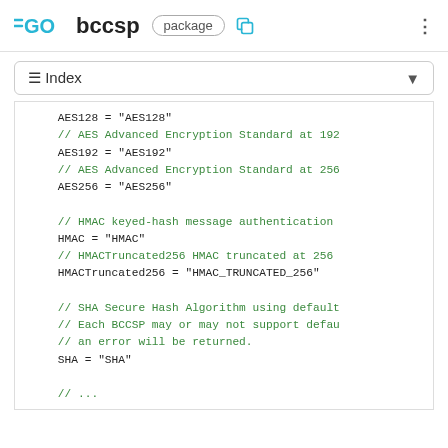GO bccsp package
≡ Index
[Figure (screenshot): Go package documentation page showing bccsp package constants code block with AES128, AES192, AES256, HMAC, HMACTruncated256, SHA constants and their string values, with comments in green and code in black monospace font.]